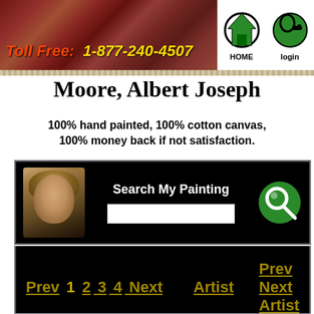[Figure (screenshot): Website header banner with artwork background, toll-free phone number, and navigation icons for HOME and login]
Moore, Albert Joseph
100% hand painted, 100% cotton canvas, 100% money back if not satisfaction.
[Figure (screenshot): Search My Painting panel with thumbnail artwork, text input field, and search icon on black background]
[Figure (screenshot): Pagination panel with links: Prev 1 2 3 4 Next, Artist, Prev Next Artist navigation on black background]
Click Image to Enlarge
The Mother of Sisera Looked out a Window